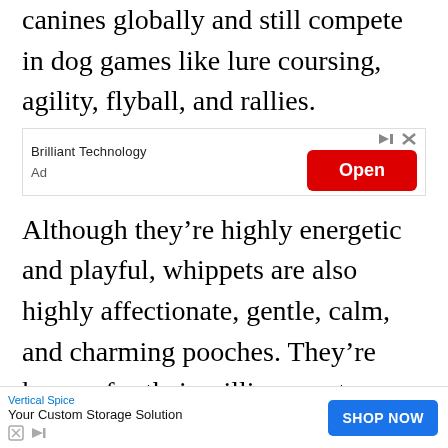canines globally and still compete in dog games like lure coursing, agility, flyball, and rallies.
[Figure (other): Advertisement banner: Brilliant Technology with red Open button and close/skip controls]
Although they’re highly energetic and playful, whippets are also highly affectionate, gentle, calm, and charming pooches. They’re known for their willingness to please, even-temper, and
[Figure (other): Advertisement banner at bottom: Vertical Spice - Your Custom Storage Solution with blue SHOP NOW button]